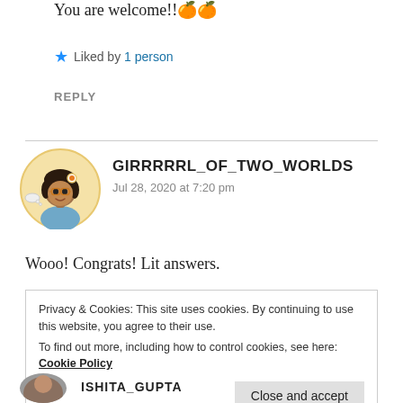You are welcome!!🍊🍊
★ Liked by 1 person
REPLY
[Figure (illustration): Circular avatar of GIRRRRRL_OF_TWO_WORLDS, an illustrated woman with dark hair, glasses, wearing a blue outfit, with a yellow/cream circular background.]
GIRRRRRL_OF_TWO_WORLDS
Jul 28, 2020 at 7:20 pm
Wooo! Congrats! Lit answers.
Privacy & Cookies: This site uses cookies. By continuing to use this website, you agree to their use.
To find out more, including how to control cookies, see here: Cookie Policy
Close and accept
[Figure (photo): Partial circular avatar at bottom of page, small photo.]
ISHITA_GUPTA